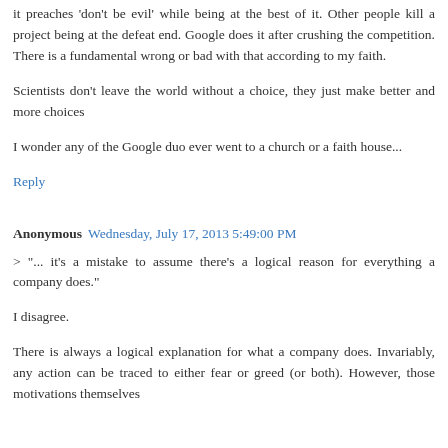it preaches 'don't be evil' while being at the best of it. Other people kill a project being at the defeat end. Google does it after crushing the competition. There is a fundamental wrong or bad with that according to my faith.
Scientists don't leave the world without a choice, they just make better and more choices
I wonder any of the Google duo ever went to a church or a faith house...
Reply
Anonymous Wednesday, July 17, 2013 5:49:00 PM
> "... it's a mistake to assume there's a logical reason for everything a company does."
I disagree.
There is always a logical explanation for what a company does. Invariably, any action can be traced to either fear or greed (or both). However, those motivations themselves